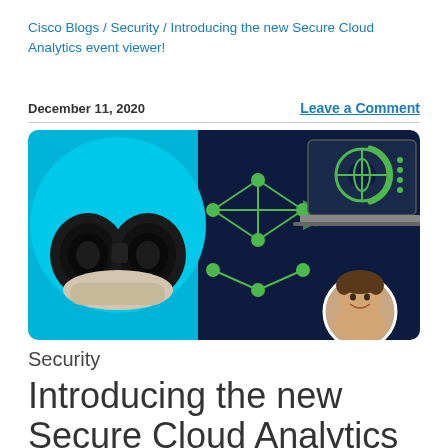Cisco Blogs / Security / Introducing the new Secure Cloud Analytics event viewer!
December 11, 2020
Leave a Comment
[Figure (illustration): Hero banner image showing a hand holding binoculars on a cyan/blue background on the left, with a network graph diagram in the center, and a laptop with a globe/analytics icon on a dark navy background on the right. A circular profile photo of a smiling man is overlaid on the bottom right corner.]
Security
Introducing the new Secure Cloud Analytics